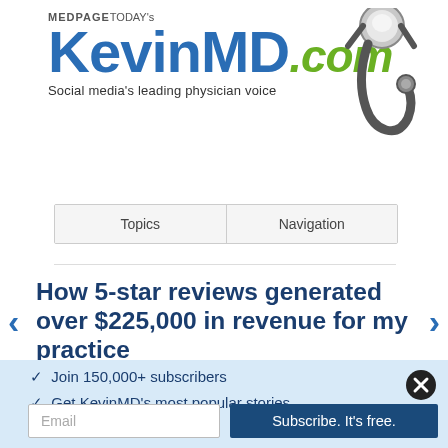[Figure (logo): KevinMD.com logo with stethoscope — MedPage Today's KevinMD.com, Social media's leading physician voice]
| Topics | Navigation |
| --- | --- |
How 5-star reviews generated over $225,000 in revenue for my practice
✓  Join 150,000+ subscribers
✓  Get KevinMD's most popular stories